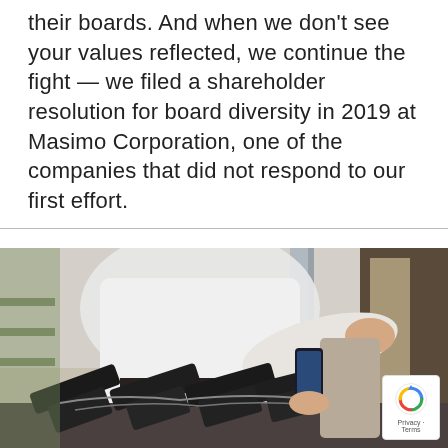their boards. And when we don't see your values reflected, we continue the fight — we filed a shareholder resolution for board diversity in 2019 at Masimo Corporation, one of the companies that did not respond to our first effort.
[Figure (photo): Photo of a person examining handguns displayed on a counter at a gun store, with multiple black pistols visible in the foreground]